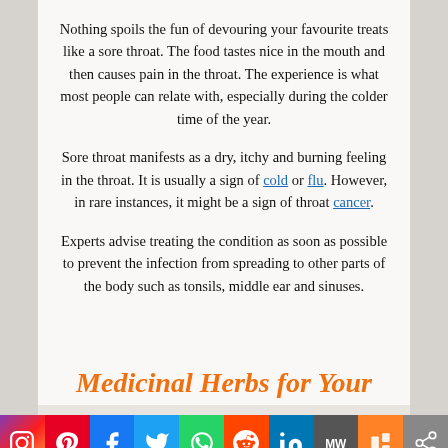Nothing spoils the fun of devouring your favourite treats like a sore throat. The food tastes nice in the mouth and then causes pain in the throat. The experience is what most people can relate with, especially during the colder time of the year.
Sore throat manifests as a dry, itchy and burning feeling in the throat. It is usually a sign of cold or flu. However, in rare instances, it might be a sign of throat cancer.
Experts advise treating the condition as soon as possible to prevent the infection from spreading to other parts of the body such as tonsils, middle ear and sinuses.
Medicinal Herbs for Your
[Figure (infographic): Social media sharing bar with icons: Instagram, Pinterest, Facebook, Twitter, WhatsApp, Reddit, LinkedIn, MW, Mix, Share]